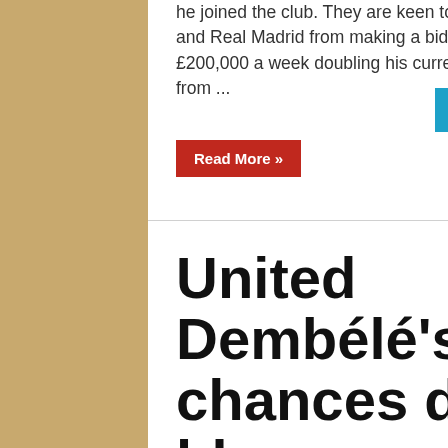he joined the club. They are keen to dissuade potential suitors, including Barcelona and Real Madrid from making a bid for him and are prepared to increase his wages to £200,000 a week doubling his current money. Since joining the Premier League side from ...
Read More »
United Dembélé's chances dealt a blow